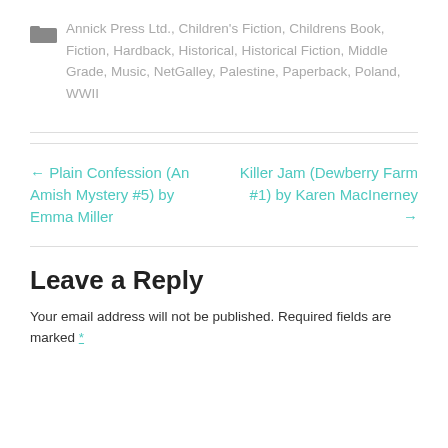Annick Press Ltd., Children's Fiction, Childrens Book, Fiction, Hardback, Historical, Historical Fiction, Middle Grade, Music, NetGalley, Palestine, Paperback, Poland, WWII
← Plain Confession (An Amish Mystery #5) by Emma Miller
Killer Jam (Dewberry Farm #1) by Karen MacInerney →
Leave a Reply
Your email address will not be published. Required fields are marked *